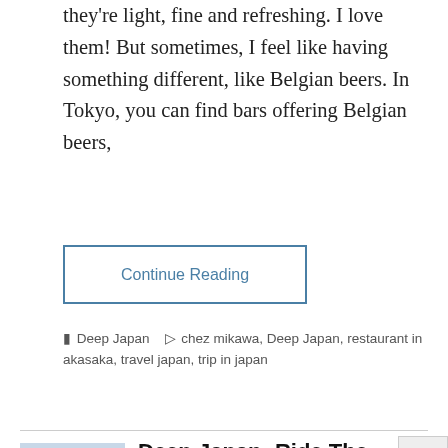they're light, fine and refreshing. I love them! But sometimes, I feel like having something different, like Belgian beers. In Tokyo, you can find bars offering Belgian beers,
Continue Reading
Deep Japan  chez mikawa, Deep Japan, restaurant in akasaka, travel japan, trip in japan
Deep Japan: Ride The Tokyo Metro Like A Boss